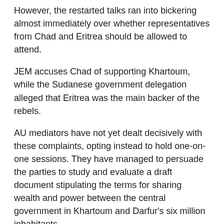However, the restarted talks ran into bickering almost immediately over whether representatives from Chad and Eritrea should be allowed to attend.
JEM accuses Chad of supporting Khartoum, while the Sudanese government delegation alleged that Eritrea was the main backer of the rebels.
AU mediators have not yet dealt decisively with these complaints, opting instead to hold one-on-one sessions. They have managed to persuade the parties to study and evaluate a draft document stipulating the terms for sharing wealth and power between the central government in Khartoum and Darfur's six million inhabitants.
But things are moving at a snail's pace.
Meanhwile, Nigeria on Friday began deploying the first batch of a 2,000-strong reinforcement of AU troops to Darfur.